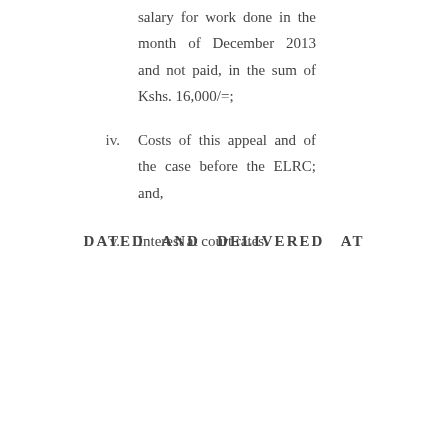salary for work done in the month of December 2013 and not paid, in the sum of Kshs. 16,000/=;
iv. Costs of this appeal and of the case before the ELRC; and,
v. Interest at court rates.
DATED AND DELIVERED AT